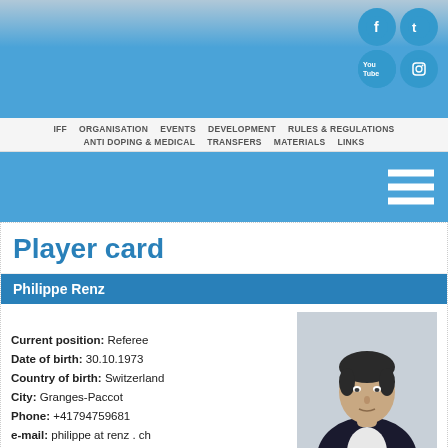[Figure (screenshot): Website header banner with blue gradient background and social media icons (Facebook, Twitter, YouTube, Instagram) in top right corner]
IFF   ORGANISATION   EVENTS   DEVELOPMENT   RULES & REGULATIONS   ANTI DOPING & MEDICAL   TRANSFERS   MATERIALS   LINKS
[Figure (screenshot): Blue sub-banner with hamburger menu icon on right side]
Player card
Philippe Renz
Current position: Referee
Date of birth: 30.10.1973
Country of birth: Switzerland
City: Granges-Paccot
Phone: +41794759681
e-mail: philippe at renz . ch
[Figure (photo): Portrait photo of Philippe Renz, a man in a dark suit with white shirt, dark hair, against a light background]